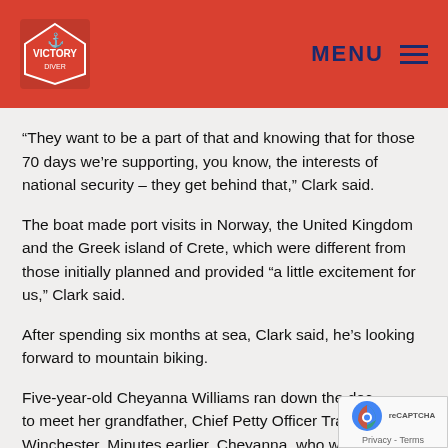MENU
“They want to be a part of that and knowing that for those 70 days we’re supporting, you know, the interests of national security – they get behind that,” Clark said.
The boat made port visits in Norway, the United Kingdom and the Greek island of Crete, which were different from those initially planned and provided “a little excitement for us,” Clark said.
After spending six months at sea, Clark said, he’s looking forward to mountain biking.
Five-year-old Cheyanna Williams ran down the dock to meet her grandfather, Chief Petty Officer Travis Winchester. Minutes earlier, Cheyanna, who was